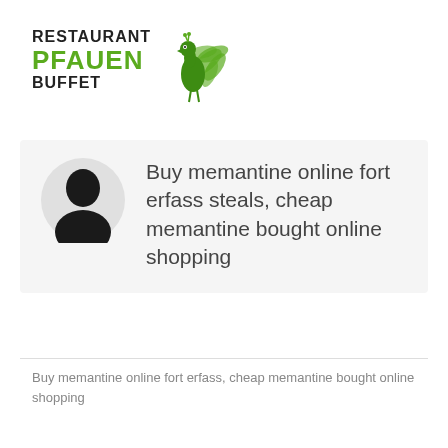[Figure (logo): Restaurant Pfauen Buffet logo with green peacock illustration. Text reads RESTAURANT in black bold, PFAUEN in large green bold, BUFFET in black bold, with a decorative green peacock image to the right.]
Buy memantine online fort erfass steals, cheap memantine bought online shopping
Buy memantine online fort erfass, cheap memantine bought online shopping